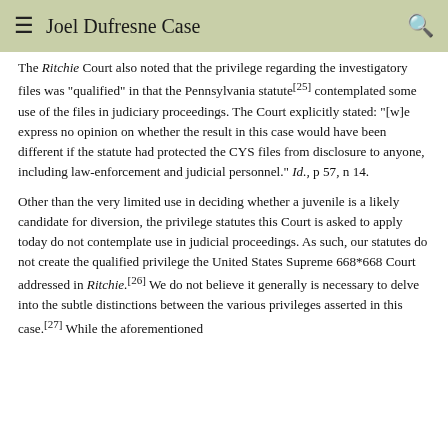Joel Dufresne Case
The Ritchie Court also noted that the privilege regarding the investigatory files was "qualified" in that the Pennsylvania statute[25] contemplated some use of the files in judiciary proceedings. The Court explicitly stated: "[w]e express no opinion on whether the result in this case would have been different if the statute had protected the CYS files from disclosure to anyone, including law-enforcement and judicial personnel." Id., p 57, n 14.
Other than the very limited use in deciding whether a juvenile is a likely candidate for diversion, the privilege statutes this Court is asked to apply today do not contemplate use in judicial proceedings. As such, our statutes do not create the qualified privilege the United States Supreme 668*668 Court addressed in Ritchie.[26] We do not believe it generally is necessary to delve into the subtle distinctions between the various privileges asserted in this case.[27] While the aforementioned